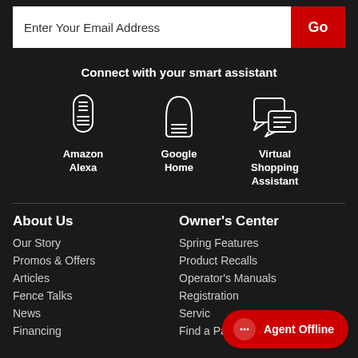Enter Your Email Address
Go
Connect with your smart assistant
[Figure (illustration): Three smart assistant icons: Amazon Alexa (cylinder speaker), Google Home (rounded speaker), Virtual Shopping Assistant (chat bubble icon)]
About Us
Our Story
Promos & Offers
Articles
Fence Talks
News
Financing
Owner's Center
Spring Features
Product Recalls
Operator's Manuals
Registration
Service
Find a Part
Agent Offline